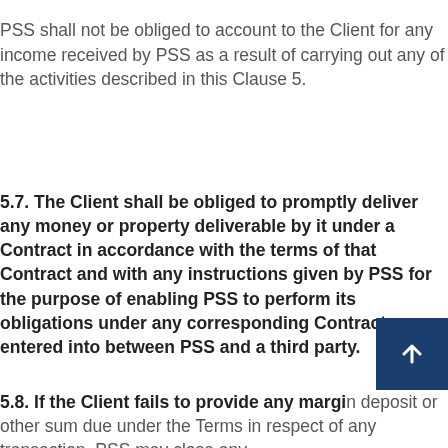PSS shall not be obliged to account to the Client for any income received by PSS as a result of carrying out any of the activities described in this Clause 5.
5.7. The Client shall be obliged to promptly deliver any money or property deliverable by it under a Contract in accordance with the terms of that Contract and with any instructions given by PSS for the purpose of enabling PSS to perform its obligations under any corresponding Contract entered into between PSS and a third party.
5.8. If the Client fails to provide any margin deposit or other sum due under the Terms in respect of any transaction, PSS may close any